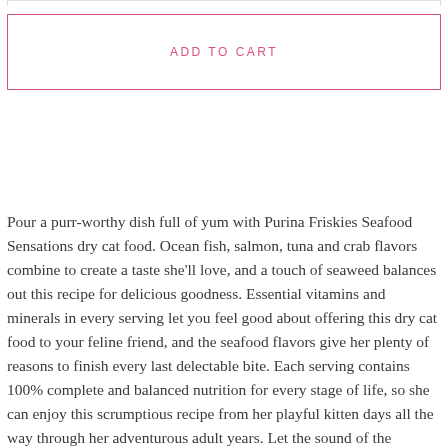ADD TO CART
Pour a purr-worthy dish full of yum with Purina Friskies Seafood Sensations dry cat food. Ocean fish, salmon, tuna and crab flavors combine to create a taste she'll love, and a touch of seaweed balances out this recipe for delicious goodness. Essential vitamins and minerals in every serving let you feel good about offering this dry cat food to your feline friend, and the seafood flavors give her plenty of reasons to finish every last delectable bite. Each serving contains 100% complete and balanced nutrition for every stage of life, so she can enjoy this scrumptious recipe from her playful kitten days all the way through her adventurous adult years. Let the sound of the delightful